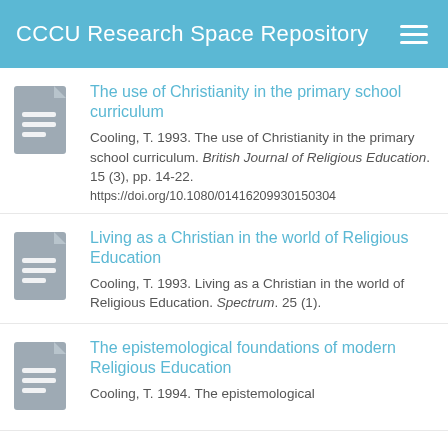CCCU Research Space Repository
The use of Christianity in the primary school curriculum
Cooling, T. 1993. The use of Christianity in the primary school curriculum. British Journal of Religious Education. 15 (3), pp. 14-22.
https://doi.org/10.1080/01416209930150304
Living as a Christian in the world of Religious Education
Cooling, T. 1993. Living as a Christian in the world of Religious Education. Spectrum. 25 (1).
The epistemological foundations of modern Religious Education
Cooling, T. 1994. The epistemological